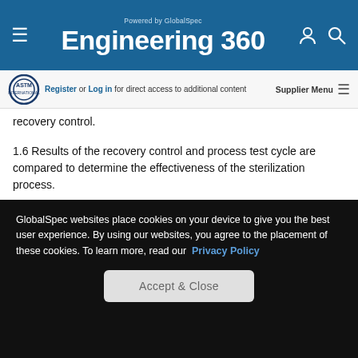Engineering 360 – Powered by GlobalSpec
Register or Log in for direct access to additional content | Supplier Menu
recovery control.
1.6 Results of the recovery control and process test cycle are compared to determine the effectiveness of the sterilization process.
1.7 Results of the recovery control and applied inoculum are compared to determine the recovery efficiency, if desired.
GlobalSpec websites place cookies on your device to give you the best user experience. By using our websites, you agree to the placement of these cookies. To learn more, read our Privacy Policy
Accept & Close